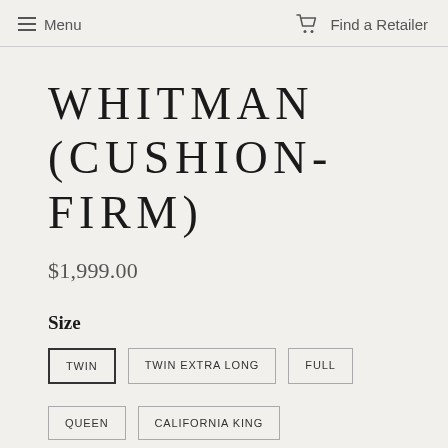Menu  Find a Retailer
WHITMAN (CUSHION-FIRM)
$1,999.00
Size
TWIN
TWIN EXTRA LONG
FULL
QUEEN
CALIFORNIA KING